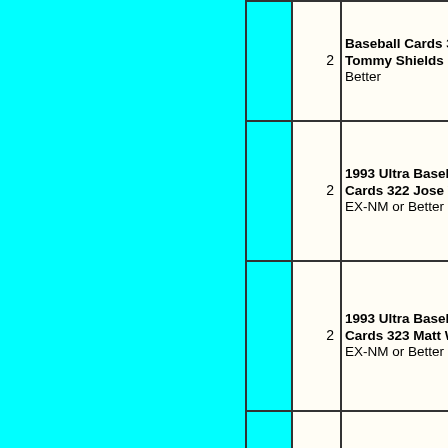| Image | Qty | Item |
| --- | --- | --- |
|  | 2 | Baseball Cards 321 Tommy Shields EX-NM or Better |
|  | 2 | 1993 Ultra Baseball Cards 322 Jose Vizcaino EX-NM or Better |
|  | 2 | 1993 Ultra Baseball Cards 323 Matt Walbe RC EX-NM or Better |
|  | 2 | 1993 Ultra Baseball Cards 324 Willie Wils EX-NM or Better |
|  |  | 1993 Ultra... |